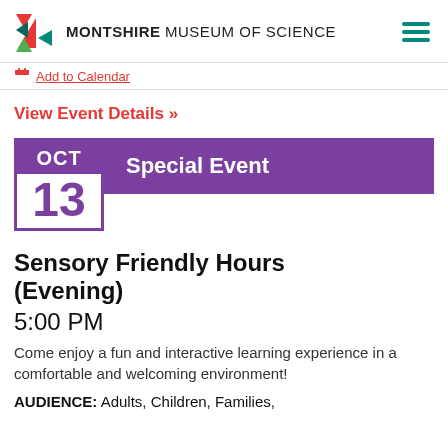MONTSHIRE MUSEUM OF SCIENCE
Add to Calendar
View Event Details >>
OCT 13 Special Event
Sensory Friendly Hours (Evening)
5:00 PM
Come enjoy a fun and interactive learning experience in a comfortable and welcoming environment!
AUDIENCE: Adults, Children, Families,